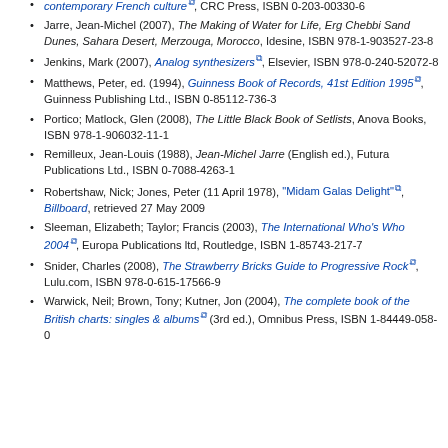contemporary French culture, CRC Press, ISBN 0-203-00330-6
Jarre, Jean-Michel (2007), The Making of Water for Life, Erg Chebbi Sand Dunes, Sahara Desert, Merzouga, Morocco, Idesine, ISBN 978-1-903527-23-8
Jenkins, Mark (2007), Analog synthesizers, Elsevier, ISBN 978-0-240-52072-8
Matthews, Peter, ed. (1994), Guinness Book of Records, 41st Edition 1995, Guinness Publishing Ltd., ISBN 0-85112-736-3
Portico; Matlock, Glen (2008), The Little Black Book of Setlists, Anova Books, ISBN 978-1-906032-11-1
Remilleux, Jean-Louis (1988), Jean-Michel Jarre (English ed.), Futura Publications Ltd., ISBN 0-7088-4263-1
Robertshaw, Nick; Jones, Peter (11 April 1978), "Midam Galas Delight", Billboard, retrieved 27 May 2009
Sleeman, Elizabeth; Taylor; Francis (2003), The International Who's Who 2004, Europa Publications ltd, Routledge, ISBN 1-85743-217-7
Snider, Charles (2008), The Strawberry Bricks Guide to Progressive Rock, Lulu.com, ISBN 978-0-615-17566-9
Warwick, Neil; Brown, Tony; Kutner, Jon (2004), The complete book of the British charts: singles & albums (3rd ed.), Omnibus Press, ISBN 1-84449-058-0